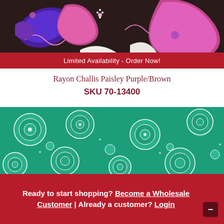[Figure (photo): Close-up photo of rayon challis paisley fabric in purple, pink, and brown colors with swirling decorative patterns]
Limited Availability - Order Now!
Rayon Challis Paisley Purple/Brown
SKU 70-13400
[Figure (photo): Close-up photo of teal/green fabric with white floral and paisley patterns]
Ready to start shopping? Become a Wholesale Customer | Already a customer? Login